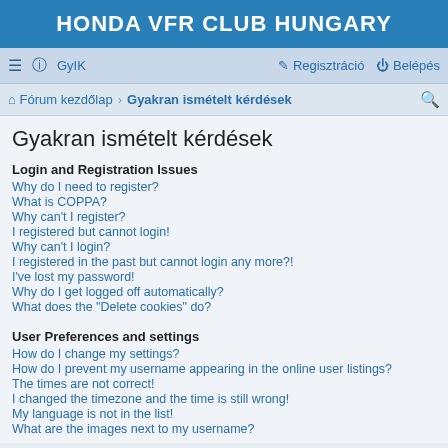HONDA VFR CLUB HUNGARY
≡  GyIK  Regisztráció  Belépés
Fórum kezdőlap › Gyakran ismételt kérdések
Gyakran ismételt kérdések
Login and Registration Issues
Why do I need to register?
What is COPPA?
Why can't I register?
I registered but cannot login!
Why can't I login?
I registered in the past but cannot login any more?!
I've lost my password!
Why do I get logged off automatically?
What does the "Delete cookies" do?
User Preferences and settings
How do I change my settings?
How do I prevent my username appearing in the online user listings?
The times are not correct!
I changed the timezone and the time is still wrong!
My language is not in the list!
What are the images next to my username?